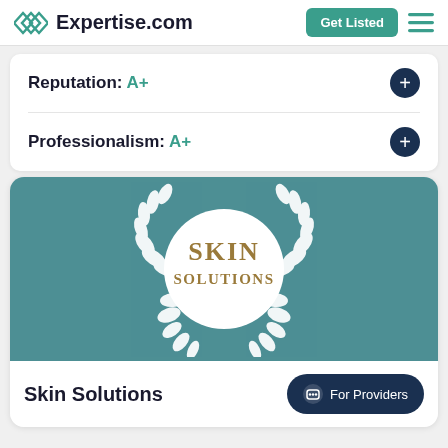Expertise.com
Reputation: A+
Professionalism: A+
[Figure (logo): Skin Solutions logo: teal background with white laurel wreath surrounding a white circle containing 'SKIN SOLUTIONS' in gold/brown text]
Skin Solutions